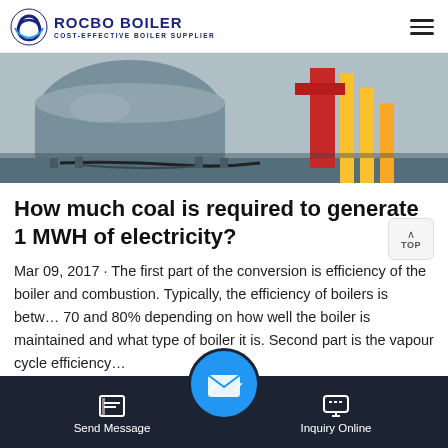ROCBO BOILER — COST-EFFECTIVE BOILER SUPPLIER
[Figure (photo): Industrial boiler equipment on a factory floor with yellow pipes and machinery]
How much coal is required to generate 1 MWH of electricity?
Mar 09, 2017 · The first part of the conversion is efficiency of the boiler and combustion. Typically, the efficiency of boilers is between 70 and 80% depending on how well the boiler is maintained and what type of boiler it is. Second part is the vapour cycle efficiency...
Get Price
Send Message | Inquiry Online